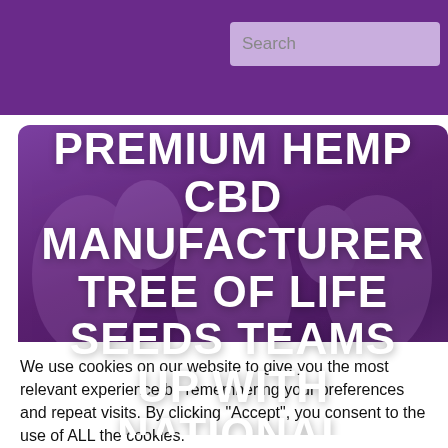Search
[Figure (illustration): Purple banner with decorative tree background showing text: PREMIUM HEMP CBD MANUFACTURER TREE OF LIFE SEEDS TEAMS UP WITH NATIONAL PANCREATIC CANCER FOUNDATION]
PREMIUM HEMP CBD MANUFACTURER TREE OF LIFE SEEDS TEAMS UP WITH NATIONAL PANCREATIC CANCER FOUNDATION
We use cookies on our website to give you the most relevant experience by remembering your preferences and repeat visits. By clicking "Accept", you consent to the use of ALL the cookies. Do not sell my personal information.
Cookie Settings | Accept